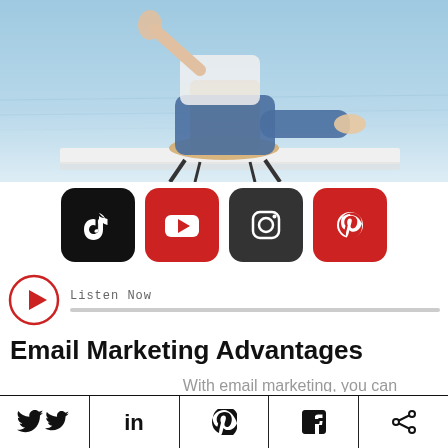[Figure (photo): Person sitting relaxed in a chair outdoors near water, wearing jeans, viewed from side/above. Blue water background.]
[Figure (infographic): Row of four social media platform icons: TikTok (black), YouTube (red), Instagram (dark), Pinterest (red)]
[Figure (infographic): Audio player UI with red circular play button, 'Listen Now' label, and a grey progress bar]
Email Marketing Advantages
With email marketing, you can personalize your campaigns and create targeted content. Email marketing not only helps
Twitter | LinkedIn | Pinterest | Facebook | Share